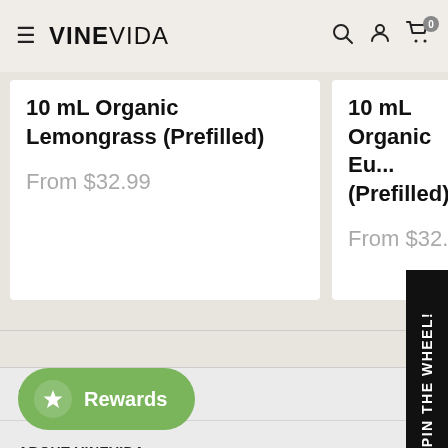VINEVIDA
10 mL Organic Lemongrass (Prefilled)
From $32.99
10 mL Organic Eu... (Prefilled)
From $32.99
SITEMAP
ABOUT VINEVIDA
Rewards